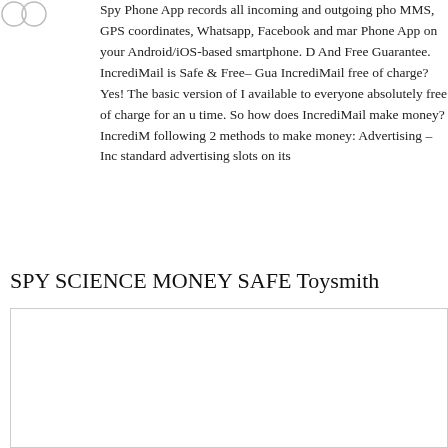Spy Phone App records all incoming and outgoing pho MMS, GPS coordinates, Whatsapp, Facebook and mar Phone App on your Android/iOS-based smartphone. D And Free Guarantee. IncrediMail is Safe & Free– Gua IncrediMail free of charge? Yes! The basic version of I available to everyone absolutely free of charge for an u time. So how does IncrediMail make money? IncrediM following 2 methods to make money: Advertising – Inc standard advertising slots on its
SPY SCIENCE MONEY SAFE Toysmith
[Figure (other): Empty white box with border, below SPY SCIENCE MONEY SAFE Toysmith heading]